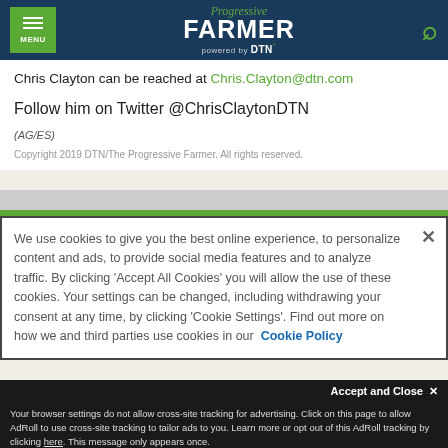Progressive Farmer powered by DTN — Menu and Search header
Chris Clayton can be reached at Chris.Clayton@dtn.com
Follow him on Twitter @ChrisClaytonDTN
(AG/ES)
Copyright 2019 DTN/The Progressive Farmer. All rights reserved.
We use cookies to give you the best online experience, to personalize content and ads, to provide social media features and to analyze traffic. By clicking 'Accept All Cookies' you will allow the use of these cookies. Your settings can be changed, including withdrawing your consent at any time, by clicking 'Cookie Settings'. Find out more on how we and third parties use cookies in our Cookie Policy
Accept and Close ✕
Your browser settings do not allow cross-site tracking for advertising. Click on this page to allow AdRoll to use cross-site tracking to tailor ads to you. Learn more or opt out of this AdRoll tracking by clicking here. This message only appears once.